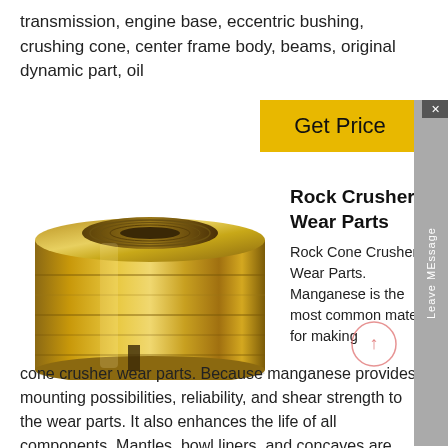transmission, engine base, eccentric bushing, crushing cone, center frame body, beams, original dynamic part, oil
Rock Crusher Wear Parts
[Figure (photo): A gold/brass cylindrical eccentric bushing component for a rock crusher, showing machined grooves and slots.]
Rock Cone Crusher Wear Parts. Manganese is the most common material for making cone crusher wear parts. Because manganese provides mounting possibilities, reliability, and shear strength to the wear parts. It also enhances the life of all components. Mantles, bowl liners, and concaves are made of Mn14, Mn18, and Mn22.